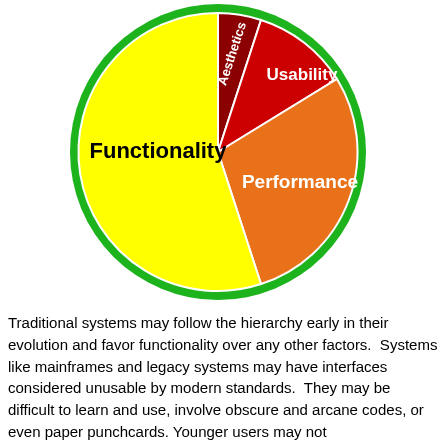[Figure (pie-chart): ]
Traditional systems may follow the hierarchy early in their evolution and favor functionality over any other factors.  Systems like mainframes and legacy systems may have interfaces considered unusable by modern standards.  They may be difficult to learn and use, involve obscure and arcane codes, or even paper punchcards. Younger users may not